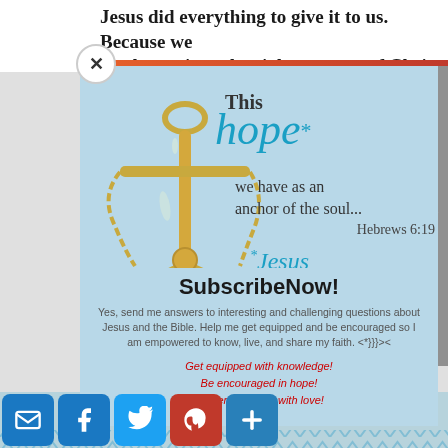Jesus did everything to give it to us. Because we have been given the righteousness of Christ (2
[Figure (infographic): Light blue popup card with golden anchor illustration and Bible verse text overlay. Shows 'This hope* we have as an anchor of the soul... Hebrews 6:19' with '*Jesus' in cyan italic. Features SubscribeNow! call to action with subscription text and red italic motivational lines.]
SubscribeNow!
Yes, send me answers to interesting and challenging questions about Jesus and the Bible. Help me get equipped and be encouraged so I am empowered to know, live, and share my faith. <*}}}><
Get equipped with knowledge!
Be encouraged in hope!
Live empowered with love!
[Figure (infographic): Social sharing icons row: email (blue), Facebook (blue), Twitter (cyan), Pinterest (red), More/Plus (blue)]